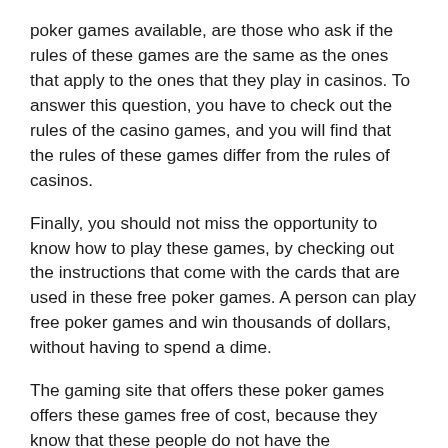poker games available, are those who ask if the rules of these games are the same as the ones that apply to the ones that they play in casinos. To answer this question, you have to check out the rules of the casino games, and you will find that the rules of these games differ from the rules of casinos.
Finally, you should not miss the opportunity to know how to play these games, by checking out the instructions that come with the cards that are used in these free poker games. A person can play free poker games and win thousands of dollars, without having to spend a dime.
The gaming site that offers these poker games offers these games free of cost, because they know that these people do not have the experience or knowledge to know how to play the games, and also they know that people do not have the time to sit down and learn the rules of these games. So they offer these games for free to attract people who are interested in playing.